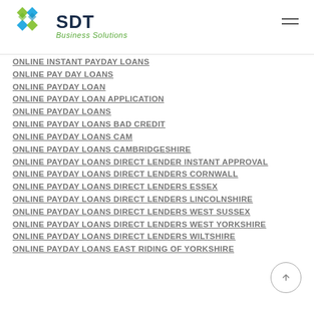[Figure (logo): SDT Business Solutions logo with green diamond pattern icon and dark blue SDT text]
ONLINE INSTANT PAYDAY LOANS
ONLINE PAY DAY LOANS
ONLINE PAYDAY LOAN
ONLINE PAYDAY LOAN APPLICATION
ONLINE PAYDAY LOANS
ONLINE PAYDAY LOANS BAD CREDIT
ONLINE PAYDAY LOANS CAM
ONLINE PAYDAY LOANS CAMBRIDGESHIRE
ONLINE PAYDAY LOANS DIRECT LENDER INSTANT APPROVAL
ONLINE PAYDAY LOANS DIRECT LENDERS CORNWALL
ONLINE PAYDAY LOANS DIRECT LENDERS ESSEX
ONLINE PAYDAY LOANS DIRECT LENDERS LINCOLNSHIRE
ONLINE PAYDAY LOANS DIRECT LENDERS WEST SUSSEX
ONLINE PAYDAY LOANS DIRECT LENDERS WEST YORKSHIRE
ONLINE PAYDAY LOANS DIRECT LENDERS WILTSHIRE
ONLINE PAYDAY LOANS EAST RIDING OF YORKSHIRE